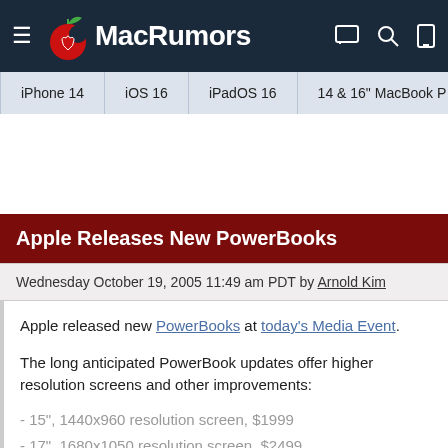MacRumors
iPhone 14 | iOS 16 | iPadOS 16 | 14 & 16" MacBook P
Apple Releases New PowerBooks
Wednesday October 19, 2005 11:49 am PDT by Arnold Kim
Apple released new PowerBooks at today's Media Event.
The long anticipated PowerBook updates offer higher resolution screens and other improvements:
- 15", 1440x960 resolution screen, $1999
- 17", 1680x1050 resolution screen, $2499